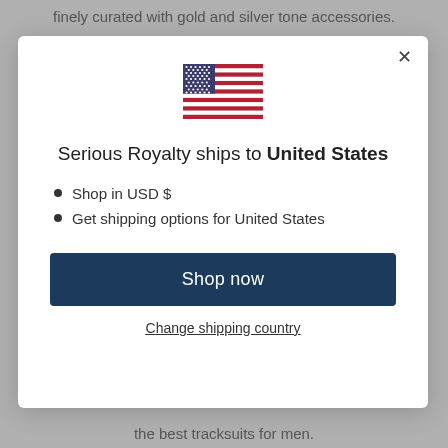finely curated with gold and silver tone accessories.
[Figure (illustration): US flag icon shown above modal title]
Serious Royalty ships to United States
Shop in USD $
Get shipping options for United States
Shop now
Change shipping country
the best tracksuits for men.